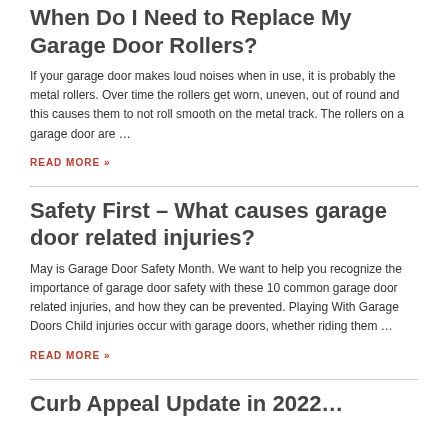When Do I Need to Replace My Garage Door Rollers?
If your garage door makes loud noises when in use, it is probably the metal rollers. Over time the rollers get worn, uneven, out of round and this causes them to not roll smooth on the metal track. The rollers on a garage door are …
READ MORE »
Safety First – What causes garage door related injuries?
May is Garage Door Safety Month. We want to help you recognize the importance of garage door safety with these 10 common garage door related injuries, and how they can be prevented. Playing With Garage Doors Child injuries occur with garage doors, whether riding them …
READ MORE »
Curb Appeal Update in 2022…